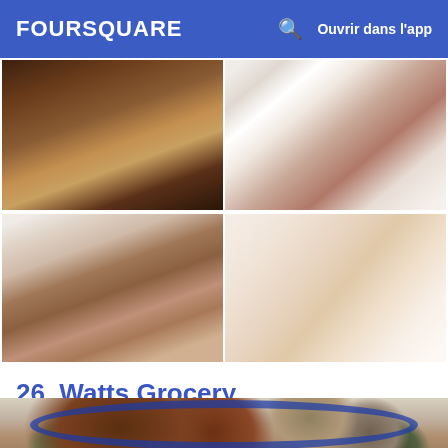FOURSQUARE  Ouvrir dans l'app
[Figure (photo): Two food photos side by side: left shows fries on a white plate, right shows shrimp or shellfish on a white plate]
[Figure (photo): Two food photos side by side: left shows fried food items in a white bowl with red sauce, right shows a light pink/beige soup or liquid in a bowl]
26. Watts Grocery
1116 Broad St (W Club Blvd), Durham, NC
Restaurant de soul-food · 43 conseils et avis
[Figure (photo): Ethiopian or soul food platter on a blue-edged white plate with injera, various stewed meats and vegetable dishes]